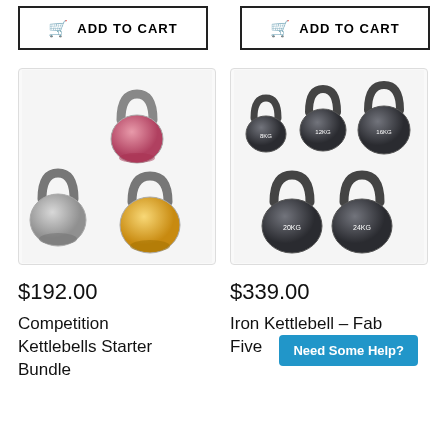[Figure (other): Two ADD TO CART buttons at top of page]
[Figure (photo): Competition kettlebells starter bundle - pink, grey, and yellow kettlebells]
[Figure (photo): Iron Kettlebell Fab Five set - five dark grey kettlebells of 8kg, 12kg, 16kg, 20kg, 24kg]
$192.00
$339.00
Competition Kettlebells Starter Bundle
Iron Kettlebell - Fab Five
[Figure (other): Need Some Help? chat badge]